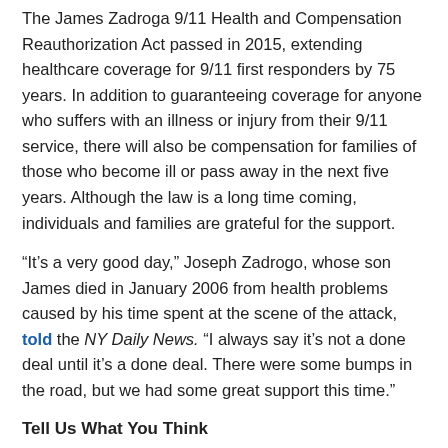The James Zadroga 9/11 Health and Compensation Reauthorization Act passed in 2015, extending healthcare coverage for 9/11 first responders by 75 years. In addition to guaranteeing coverage for anyone who suffers with an illness or injury from their 9/11 service, there will also be compensation for families of those who become ill or pass away in the next five years. Although the law is a long time coming, individuals and families are grateful for the support.
“It's a very good day,” Joseph Zadrogo, whose son James died in January 2006 from health problems caused by his time spent at the scene of the attack, told the NY Daily News. “I always say it’s not a done deal until it’s a done deal. There were some bumps in the road, but we had some great support this time.”
Tell Us What You Think
What other laws/legal decisions fell on the side of workers in 2015? We want to hear from you! Leave a comment or join